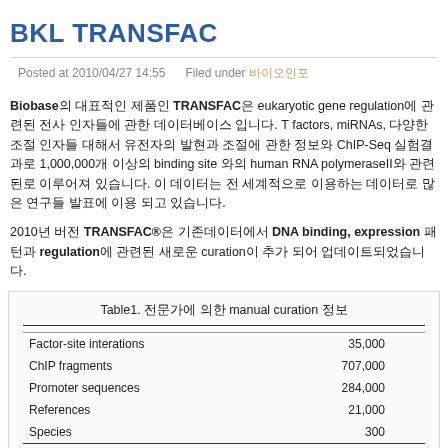BKL TRANSFAC
Posted at 2010/04/27 14:55   Filed under 바이오인포
Biobase의 대표적인 제품인 TRANSFAC은 eukaryotic gene regulation에 관련된 전사 인자들에 관한 데이터베이스 입니다. T factors, miRNAs, 다양한 조절 인자들 대해서 유전자의 발현과 조절에 관한 정보와 ChIP-Seq 실험결과로 1,000,000개 이상의 binding site와의 human RNA polymeraseII와 관련된로 이루어져 있습니다. 이 데이터는 전 세계적으로 이용하는 데이터로 많은 연구들 발표에 이용 되고 있습니다.
2010년 버전 TRANSFAC®은 기존데이터에서 DNA binding, expression 패턴과 regulation에 관련된 새로운 curation이 추가 되어 업데이트되었습니다.
Table1. 전문가에 의한 manual curation 정보
|  |  |
| --- | --- |
| Factor-site interations | 35,000 |
| ChIP fragments | 707,000 |
| Promoter sequences | 284,000 |
| References | 21,000 |
| Species | 300 |